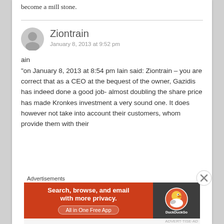become a mill stone.
ain
"on January 8, 2013 at 8:54 pm Iain said: Ziontrain – you are correct that as a CEO at the bequest of the owner, Gazidis has indeed done a good job- almost doubling the share price has made Kronkes investment a very sound one. It does however not take into account their customers, whom provide them with their
Ziontrain
January 8, 2013 at 9:52 pm
Advertisements
[Figure (screenshot): DuckDuckGo advertisement banner: 'Search, browse, and email with more privacy. All in One Free App' with DuckDuckGo logo on dark background.]